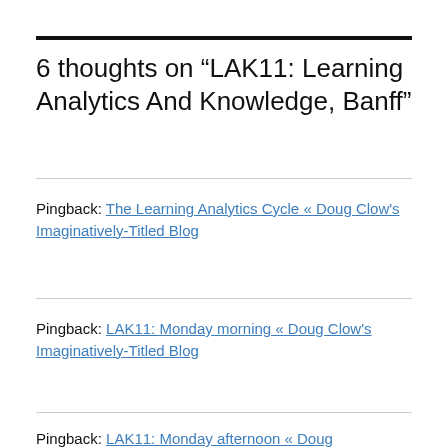6 thoughts on “LAK11: Learning Analytics And Knowledge, Banff”
Pingback: The Learning Analytics Cycle « Doug Clow's Imaginatively-Titled Blog
Pingback: LAK11: Monday morning « Doug Clow's Imaginatively-Titled Blog
Pingback: LAK11: Monday afternoon « Doug Clow's Imaginatively-Titled Blog